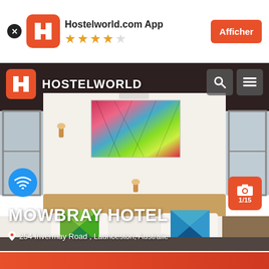[Figure (screenshot): Hostelworld app banner with logo, star rating, and Afficher button]
[Figure (photo): Hotel room photo showing a bed with colorful geometric cushions, white walls, dark roller blinds, and abstract colorful painting on wall]
MOWBRAY HOTEL
254 Invermay Road , Launceston, Australie